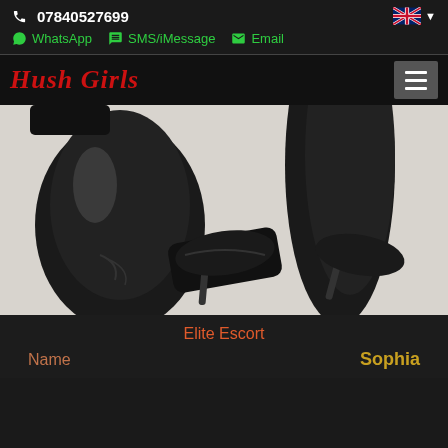07840527699
WhatsApp  SMS/iMessage  Email
Hush Girls
[Figure (photo): Close-up photo of a person wearing shiny black latex leggings and black high-heel shoes, kneeling on a white surface.]
Elite Escort
Name  Sophia